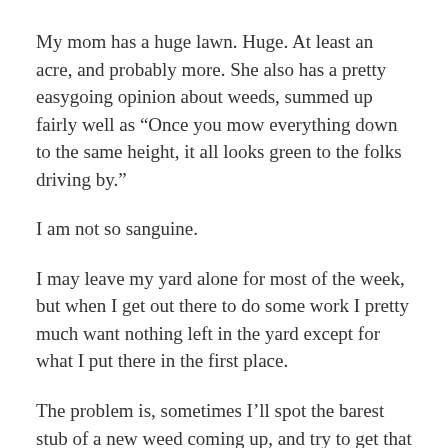My mom has a huge lawn. Huge. At least an acre, and probably more. She also has a pretty easygoing opinion about weeds, summed up fairly well as “Once you mow everything down to the same height, it all looks green to the folks driving by.”
I am not so sanguine.
I may leave my yard alone for most of the week, but when I get out there to do some work I pretty much want nothing left in the yard except for what I put there in the first place.
The problem is, sometimes I’ll spot the barest stub of a new weed coming up, and try to get that thing out.
Can’t be done. Try as I might, all I’m going to do is waste time sweating over something no one but me is going to